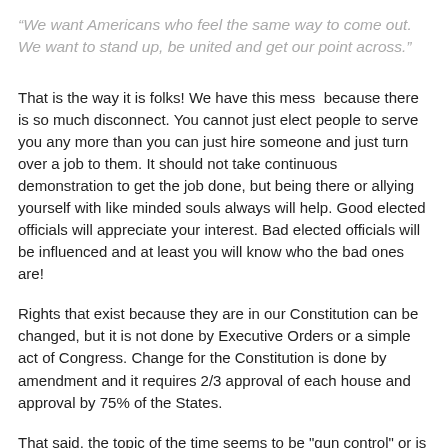“We want Americans who feel the same way to come out.  We want to stand up, be united and get our point across.”
That is the way it is folks! We have this mess  because there is so much disconnect. You cannot just elect people to serve you any more than you can just hire someone and just turn over a job to them. It should not take continuous demonstration to get the job done, but being there or allying yourself with like minded souls always will help. Good elected officials will appreciate your interest. Bad elected officials will be influenced and at least you will know who the bad ones are!
Rights that exist because they are in our Constitution can be changed, but it is not done by Executive Orders or a simple act of Congress. Change for the Constitution is done by amendment and it requires 2/3 approval of each house and approval by 75% of the States.
That said, the topic of the time seems to be "gun control" or is it really people control? Some of us have been working with Oath Keepers